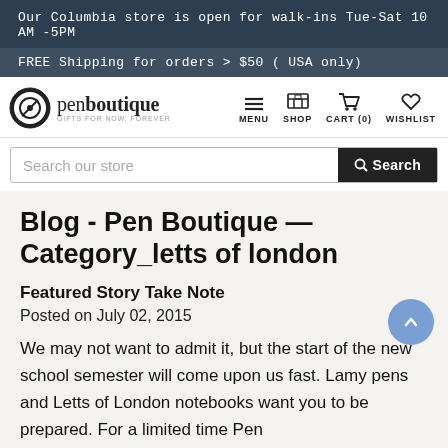Our Columbia store is open for walk-ins Tue-Sat 10 AM -5PM
FREE Shipping for orders > $50 ( USA only)
[Figure (logo): Pen Boutique logo with circular pen nib icon and text 'penboutique GIFTS FOR NOW, FOREVER']
MENU  SHOP  CART (0)  WISHLIST
Search our store
Blog - Pen Boutique — Category_letts of london
Featured Story Take Note
Posted on July 02, 2015
We may not want to admit it, but the start of the new school semester will come upon us fast. Lamy pens and Letts of London notebooks want you to be prepared. For a limited time Pen